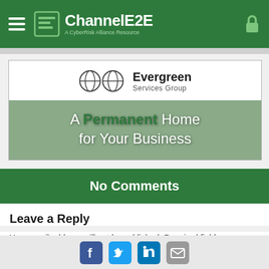ChannelE2E — A CyberRisk Alliance Resource
[Figure (illustration): Evergreen Services Group advertisement banner: top half shows logo with two diamond/globe icons and text 'Evergreen Services Group', bottom half shows forest background with text 'A Permanent Home for Your Business']
No Comments
Leave a Reply
Your email address will not be published. Required fields are marked *
Comment *
Social sharing icons: Facebook, Twitter, LinkedIn, Email